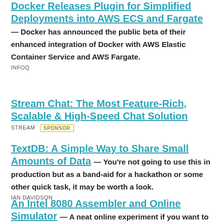Docker Releases Plugin for Simplified Deployments into AWS ECS and Fargate — Docker has announced the public beta of their enhanced integration of Docker with AWS Elastic Container Service and AWS Fargate. INFOQ
Stream Chat: The Most Feature-Rich, Scalable & High-Speed Chat Solution STREAM [SPONSOR]
TextDB: A Simple Way to Share Small Amounts of Data — You're not going to use this in production but as a band-aid for a hackathon or some other quick task, it may be worth a look. IAN DAVIDSON
An Intel 8080 Assembler and Online Simulator — A neat online experiment if you want to play with some basic x86.. well x80 really (it's complicated). ELI BENDERSKY